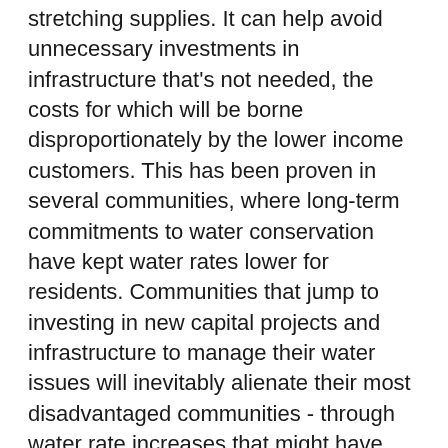stretching supplies. It can help avoid unnecessary investments in infrastructure that's not needed, the costs for which will be borne disproportionately by the lower income customers. This has been proven in several communities, where long-term commitments to water conservation have kept water rates lower for residents. Communities that jump to investing in new capital projects and infrastructure to manage their water issues will inevitably alienate their most disadvantaged communities - through water rate increases that might have been avoided by learning to do more with less.
AWE is also working to advance water equity by helping water providers design more affordable, equitable water rates. Water rates that prioritize conservation and affordability help support a utility's long-term fiscal health and keep water accessible for low-income customers. AWE provides tools and resources to help water managers better